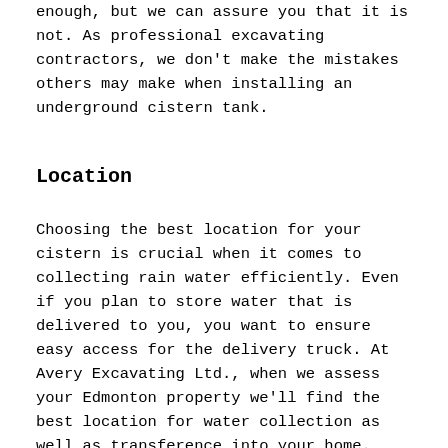enough, but we can assure you that it is not. As professional excavating contractors, we don't make the mistakes others may make when installing an underground cistern tank.
Location
Choosing the best location for your cistern is crucial when it comes to collecting rain water efficiently. Even if you plan to store water that is delivered to you, you want to ensure easy access for the delivery truck. At Avery Excavating Ltd., when we assess your Edmonton property we'll find the best location for water collection as well as transference into your home.
Water Entry, Outlets, and Drainage
Cisterns aren't just underground water storage tanks, there's more to them. Some may need four water connections